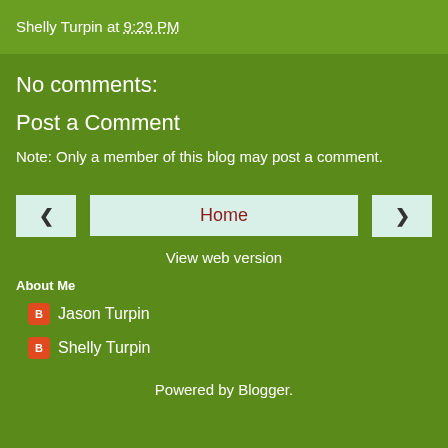Shelly Turpin at 9:29 PM
No comments:
Post a Comment
Note: Only a member of this blog may post a comment.
‹   Home   ›
View web version
About Me
Jason Turpin
Shelly Turpin
Powered by Blogger.